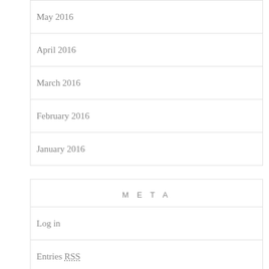May 2016
April 2016
March 2016
February 2016
January 2016
META
Log in
Entries RSS